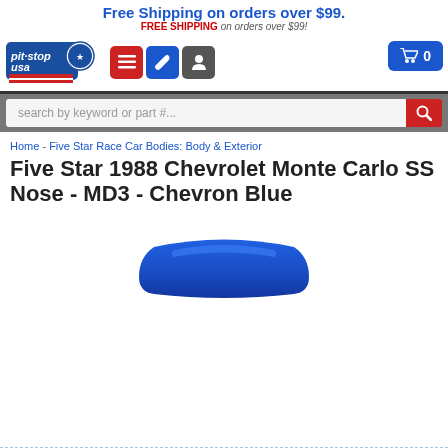Free Shipping on orders over $99.
FREE SHIPPING on orders over $99!
[Figure (logo): Pit Stop USA logo with American flag and circle emblem]
[Figure (screenshot): Navigation icons: hamburger menu (red), wrench (blue), person (gray), and cart button with 0]
[Figure (screenshot): Search bar with placeholder 'search by keyword or part #...' and red search button]
Home - Five Star Race Car Bodies: Body & Exterior
Five Star 1988 Chevrolet Monte Carlo SS Nose - MD3 - Chevron Blue
[Figure (photo): Blue chevron-colored Five Star 1988 Chevrolet Monte Carlo SS nose piece]